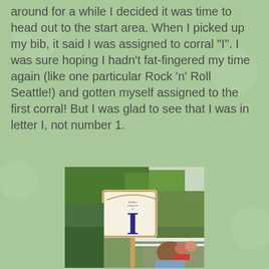around for a while I decided it was time to head out to the start area. When I picked up my bib, it said I was assigned to corral "I". I was sure hoping I hadn't fat-fingered my time again (like one particular Rock 'n' Roll Seattle!) and gotten myself assigned to the first corral! But I was glad to see that I was in letter I, not number 1.
[Figure (photo): A corral sign on a wooden pole showing a large blue letter 'I' on a cream-colored sign with a decorative border, surrounded by green trees and people waiting at the race start area.]